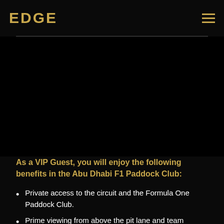EDGE
[Figure (photo): Dark/black image area below the navigation header, showing a Formula 1 related scene (mostly dark/black content area).]
As a VIP Guest, you will enjoy the following benefits in the Abu Dhabi F1 Paddock Club:
Private access to the circuit and the Formula One Paddock Club.
Prime viewing from above the pit lane and team